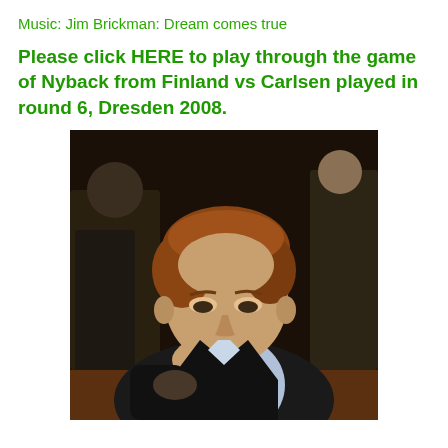Music: Jim Brickman: Dream comes true
Please click HERE to play through the game of Nyback from Finland vs Carlsen played in round 6, Dresden 2008.
[Figure (photo): Young Magnus Carlsen sitting at a chess board, resting his cheek on his hand in a contemplative pose, wearing a dark blazer and light shirt, indoor setting with other people visible in background.]